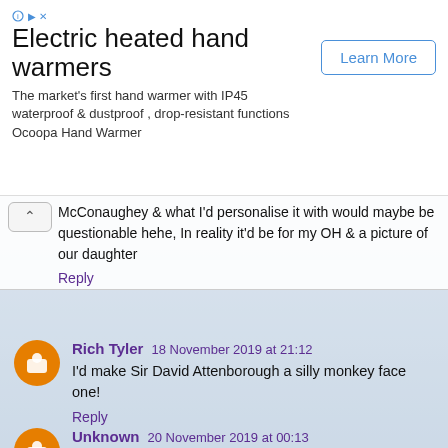[Figure (other): Advertisement banner for Electric heated hand warmers by Ocoopa with Learn More button]
McConaughey & what I'd personalise it with would maybe be questionable hehe, In reality it'd be for my OH & a picture of our daughter
Reply
Rich Tyler  18 November 2019 at 21:12
I'd make Sir David Attenborough a silly monkey face one!
Reply
Unknown  20 November 2019 at 00:13
Id make silly ones of my hudband
Reply